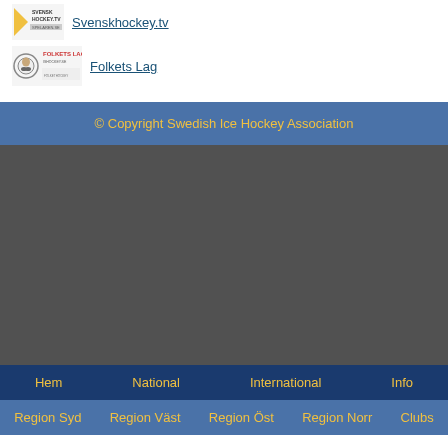[Figure (logo): Svenskhockey.tv logo with yellow arrow and text]
Svenskhockey.tv
[Figure (logo): Folkets Lag logo with cartoon mascot]
Folkets Lag
© Copyright Swedish Ice Hockey Association
Hem  National  International  Info
Region Syd  Region Väst  Region Öst  Region Norr  Clubs